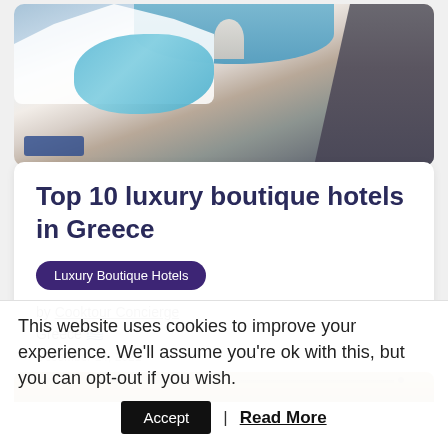[Figure (photo): Aerial view of a white luxury boutique hotel with a blue swimming pool in Santorini, Greece, with the sea in the background and rocky cliffs on the right.]
Top 10 luxury boutique hotels in Greece
Luxury Boutique Hotels
by Cooktour Concierge
Greece 🇬🇷
December 14, 2021
[Figure (photo): Partial view of a wooden boat or vessel interior, warm brown tones, partially cropped at the bottom of the page.]
This website uses cookies to improve your experience. We'll assume you're ok with this, but you can opt-out if you wish.
Accept | Read More